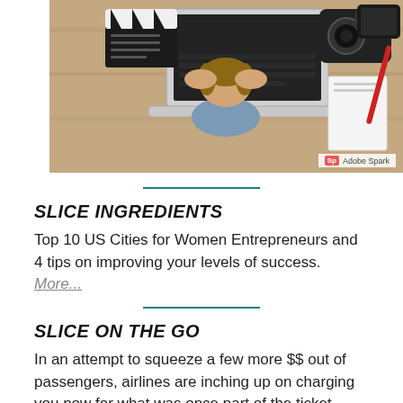[Figure (photo): Person with head in hands at desk with laptop, clapperboard, camera, and other items, Adobe Spark watermark in corner]
SLICE INGREDIENTS
Top 10 US Cities for Women Entrepreneurs and 4 tips on improving your levels of success. More...
SLICE ON THE GO
In an attempt to squeeze a few more $$ out of passengers, airlines are inching up on charging you now for what was once part of the ticket